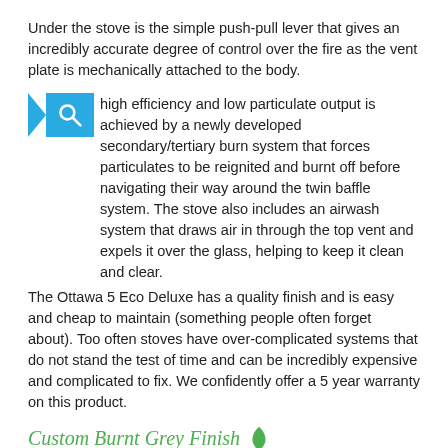Under the stove is the simple push-pull lever that gives an incredibly accurate degree of control over the fire as the vent plate is mechanically attached to the body.
high efficiency and low particulate output is achieved by a newly developed secondary/tertiary burn system that forces particulates to be reignited and burnt off before navigating their way around the twin baffle system. The stove also includes an airwash system that draws air in through the top vent and expels it over the glass, helping to keep it clean and clear.
The Ottawa 5 Eco Deluxe has a quality finish and is easy and cheap to maintain (something people often forget about). Too often stoves have over-complicated systems that do not stand the test of time and can be incredibly expensive and complicated to fix. We confidently offer a 5 year warranty on this product.
Custom Burnt Grey Finish